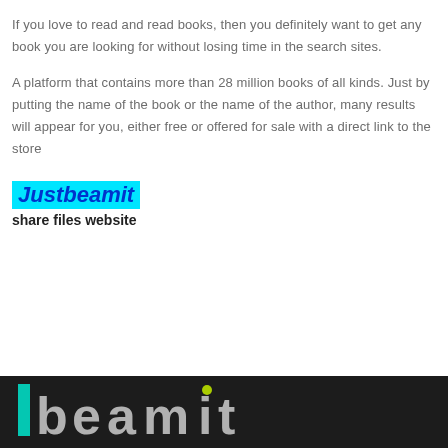If you love to read and read books, then you definitely want to get any book you are looking for without losing time in the search sites.
A platform that contains more than 28 million books of all kinds. Just by putting the name of the book or the name of the author, many results will appear for you, either free or offered for sale with a direct link to the store
Justbeamit
share files website
[Figure (screenshot): Dark background screenshot showing the beamit logo in white and green text on a dark/grey textured background]